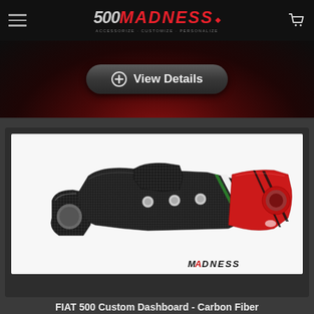500 MADNESS - Accessorize • Customize • Personalize
[Figure (screenshot): View Details button on dark red radial gradient background]
[Figure (photo): FIAT 500 Custom Dashboard - Carbon Fiber part with Italian flag stripes (green, white, red) on the right portion, displayed against white background with MADNESS watermark]
FIAT 500 Custom Dashboard - Carbon Fiber